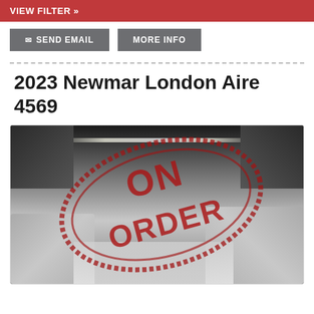VIEW FILTER »
✉ SEND EMAIL   MORE INFO
2023 Newmar London Aire 4569
[Figure (photo): Interior of a 2023 Newmar London Aire 4569 luxury RV showing living area with gray leather sofas, kitchen, and LED ceiling lights. A large red 'ON ORDER' stamp is overlaid on the image.]